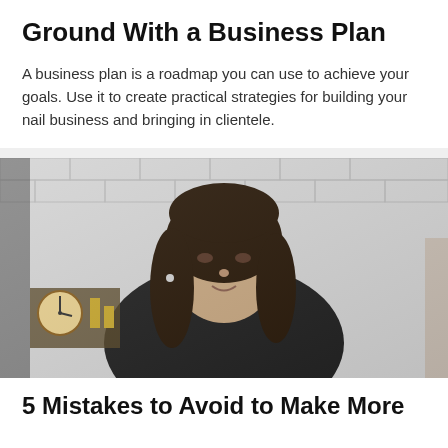Ground With a Business Plan
A business plan is a roadmap you can use to achieve your goals. Use it to create practical strategies for building your nail business and bringing in clientele.
[Figure (photo): A young woman with long dark hair wearing a black top, sitting in front of a white brick wall with a clock and decorative items visible in the background.]
5 Mistakes to Avoid to Make More